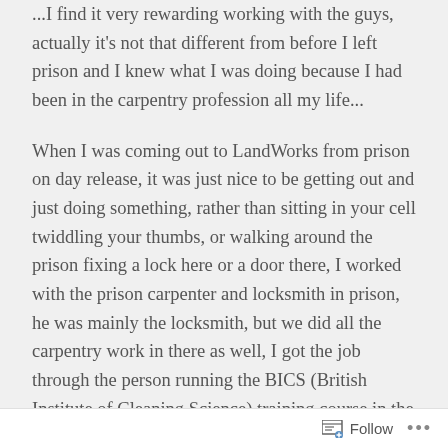...I find it very rewarding working with the guys, actually it's not that different from before I left prison and I knew what I was doing because I had been in the carpentry profession all my life...
When I was coming out to LandWorks from prison on day release, it was just nice to be getting out and just doing something, rather than sitting in your cell twiddling your thumbs, or walking around the prison fixing a lock here or a door there, I worked with the prison carpenter and locksmith in prison, he was mainly the locksmith, but we did all the carpentry work in there as well, I got the job through the person running the BICS (British Institute of Cleaning Science) training course in the prison – you have to do the course if you want to get a job on the wing, so I did that, that was the first thing I did when I got into the
Follow ···